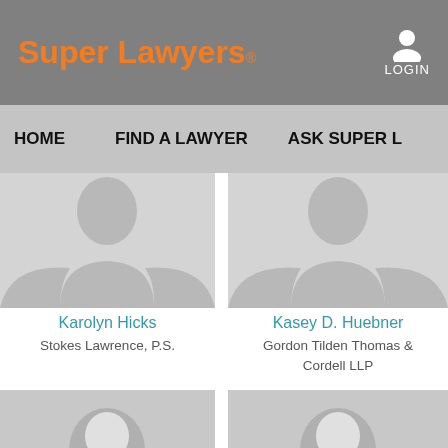Super Lawyers®
LOGIN
HOME  FIND A LAWYER  ASK SUPER L...
[Figure (photo): Placeholder silhouette avatar for Karolyn Hicks]
Karolyn Hicks
Stokes Lawrence, P.S.
[Figure (photo): Placeholder silhouette avatar for Kasey D. Huebner]
Kasey D. Huebner
Gordon Tilden Thomas & Cordell LLP
[Figure (photo): Placeholder silhouette avatar, bottom left]
[Figure (photo): Placeholder silhouette avatar, bottom right]